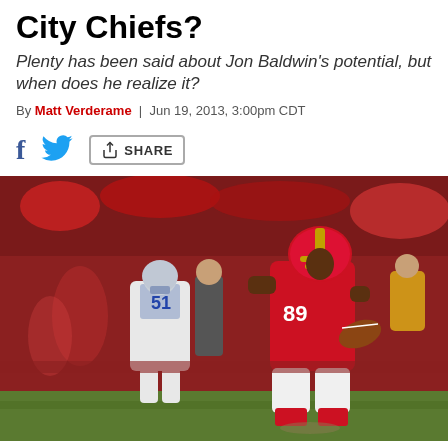City Chiefs?
Plenty has been said about Jon Baldwin's potential, but when does he realize it?
By Matt Verderame | Jun 19, 2013, 3:00pm CDT
[Figure (photo): Kansas City Chiefs wide receiver #89 in red uniform running with the football during a game, pursued by a white-uniformed defender wearing #51, photographed at Arrowhead Stadium.]